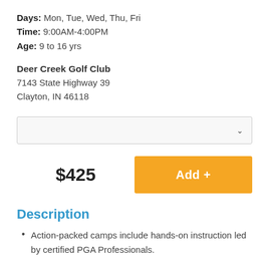Days: Mon, Tue, Wed, Thu, Fri
Time: 9:00AM-4:00PM
Age: 9 to 16 yrs
Deer Creek Golf Club
7143 State Highway 39
Clayton, IN 46118
$425
Add +
Description
Action-packed camps include hands-on instruction led by certified PGA Professionals.